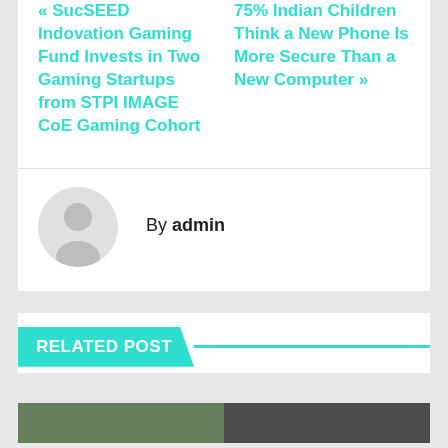« SucSEED Indovation Gaming Fund Invests in Two Gaming Startups from STPI IMAGE CoE Gaming Cohort
75% Indian Children Think a New Phone Is More Secure Than a New Computer »
By admin
RELATED POST